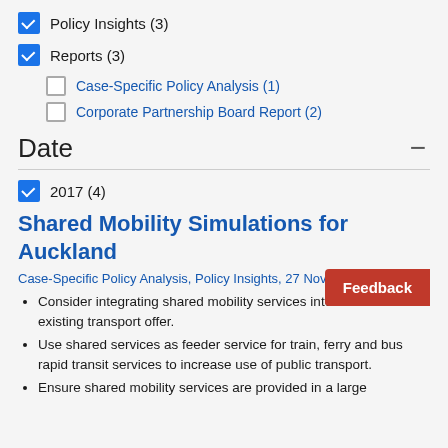Policy Insights (3)
Reports (3)
Case-Specific Policy Analysis (1)
Corporate Partnership Board Report (2)
Date
2017 (4)
Shared Mobility Simulations for Auckland
Case-Specific Policy Analysis, Policy Insights, 27 November 2017
Consider integrating shared mobility services into Auckland's existing transport offer.
Use shared services as feeder service for train, ferry and bus rapid transit services to increase use of public transport.
Ensure shared mobility services are provided in a large